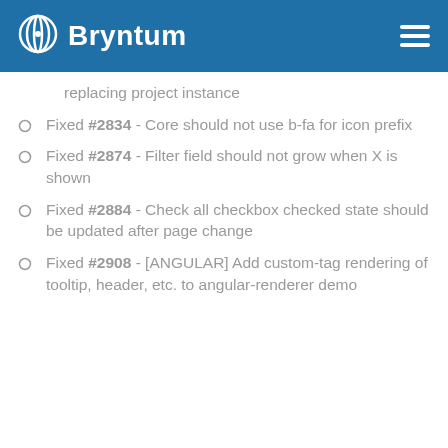Bryntum
replacing project instance
Fixed #2834 - Core should not use b-fa for icon prefix
Fixed #2874 - Filter field should not grow when X is shown
Fixed #2884 - Check all checkbox checked state should be updated after page change
Fixed #2908 - [ANGULAR] Add custom-tag rendering of tooltip, header, etc. to angular-renderer demo